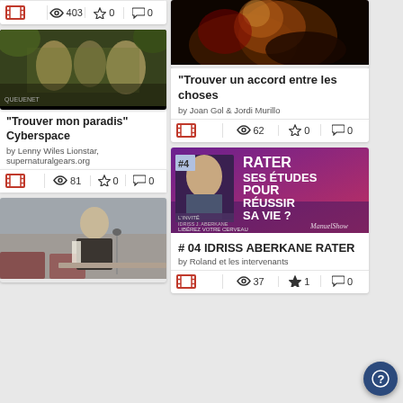[Figure (screenshot): Partial card top showing stats row with film icon, 403 views, 0 stars, 0 comments]
[Figure (photo): Photo of musicians playing instruments outdoors]
"Trouver mon paradis" Cyberspace
by Lenny Wiles Lionstar, supernaturalgears.org
81 views, 0 stars, 0 comments
[Figure (photo): Dark dramatic fire/smoke photo]
"Trouver un accord entre les choses
by Joan Gol & Jordi Murillo
62 views, 0 stars, 0 comments
[Figure (photo): Purple/red promotional image: RATER SES ÉTUDES POUR RÉUSSIR SA VIE? with Idriss Aberkane #4 L'INVITÉ, LIBÉREZ VOTRE CERVEAU, ManuelShow]
# 04 IDRISS ABERKANE RATER
by Roland et les intervenants
37 views, 1 star, 0 comments
[Figure (photo): Photo of a man in a lecture/conference setting]